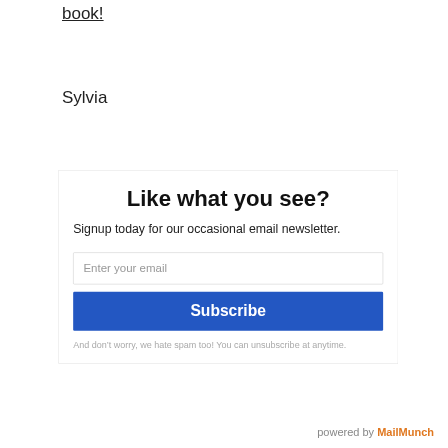book!
Sylvia
Like what you see?
Signup today for our occasional email newsletter.
Enter your email
Subscribe
And don’t worry, we hate spam too! You can unsubscribe at anytime.
powered by MailMunch